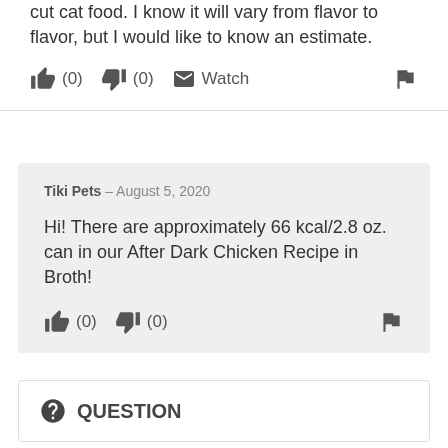cut cat food. I know it will vary from flavor to flavor, but I would like to know an estimate.
(0) (0) Watch
Tiki Pets – August 5, 2020
Hi! There are approximately 66 kcal/2.8 oz. can in our After Dark Chicken Recipe in Broth!
(0) (0)
QUESTION